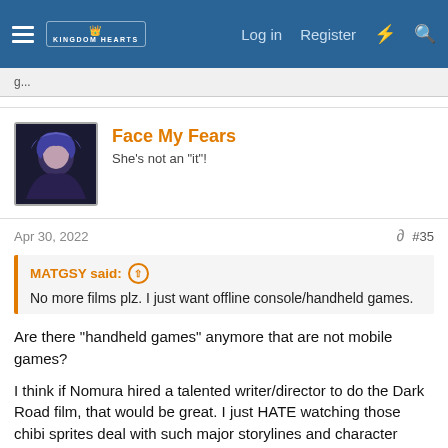Navigation bar with hamburger menu, logo, Log in, Register, and search icons
Face My Fears
She's not an "it"!
Apr 30, 2022  #35
MATGSY said:
No more films plz. I just want offline console/handheld games.
Are there "handheld games" anymore that are not mobile games?

I think if Nomura hired a talented writer/director to do the Dark Road film, that would be great. I just HATE watching those chibi sprites deal with such major storylines and character development. It makes me feel like we're robbed of those moments and instead get a text bubble and a 2D sprite. At least CoM had more depth to it and that's a GBA game.